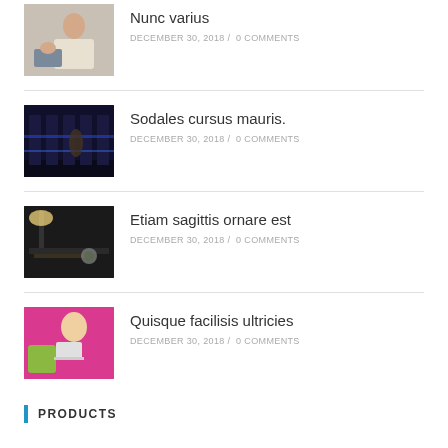[Figure (photo): Woman sitting casually, lifestyle photo]
Nunc varius
DECEMBER 30, 2018 /  0 COMMENTS
[Figure (photo): Dark train corridor with blue lighting and a person]
Sodales cursus mauris.
DECEMBER 30, 2018 /  0 COMMENTS
[Figure (photo): Dark desk with lamp and globe ornament]
Etiam sagittis ornare est
DECEMBER 30, 2018 /  0 COMMENTS
[Figure (photo): Blonde woman with laptop on pink background with green pillow]
Quisque facilisis ultricies
DECEMBER 30, 2018 /  0 COMMENTS
PRODUCTS